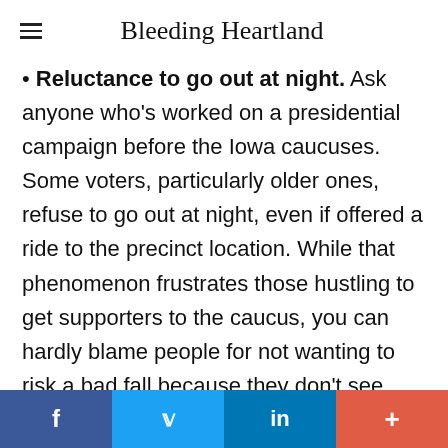Bleeding Heartland
Reluctance to go out at night. Ask anyone who's worked on a presidential campaign before the Iowa caucuses. Some voters, particularly older ones, refuse to go out at night, even if offered a ride to the precinct location. While that phenomenon frustrates those hustling to get supporters to the caucus, you can hardly blame people for not wanting to risk a bad fall because they don't see well in the dark, especially in